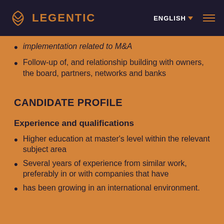LEGENTIC | ENGLISH
implementation related to M&A
Follow-up of, and relationship building with owners, the board, partners, networks and banks
CANDIDATE PROFILE
Experience and qualifications
Higher education at master's level within the relevant subject area
Several years of experience from similar work, preferably in or with companies that have
has been growing in an international environment.